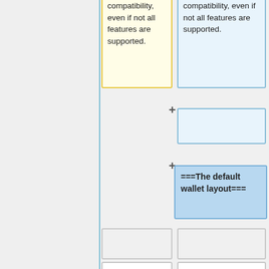compatibility, even if not all features are supported.
compatibility, even if not all features are supported.
===The default wallet layout===
An HDW is organized as several 'accounts'. Accounts are numbered, the default account ("") being number 0. Clients are not required to support more than one account
An HDW is organized as several 'accounts'. Accounts are numbered, the default account ("") being number 0. Clients are not required to support more than one account